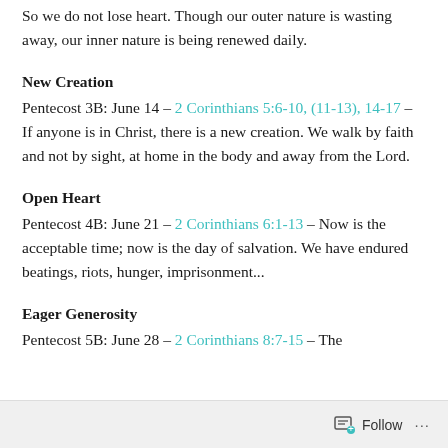So we do not lose heart. Though our outer nature is wasting away, our inner nature is being renewed daily.
New Creation
Pentecost 3B: June 14 – 2 Corinthians 5:6-10, (11-13), 14-17 – If anyone is in Christ, there is a new creation. We walk by faith and not by sight, at home in the body and away from the Lord.
Open Heart
Pentecost 4B: June 21 – 2 Corinthians 6:1-13 – Now is the acceptable time; now is the day of salvation. We have endured beatings, riots, hunger, imprisonment...
Eager Generosity
Pentecost 5B: June 28 – 2 Corinthians 8:7-15 – The
Follow ···